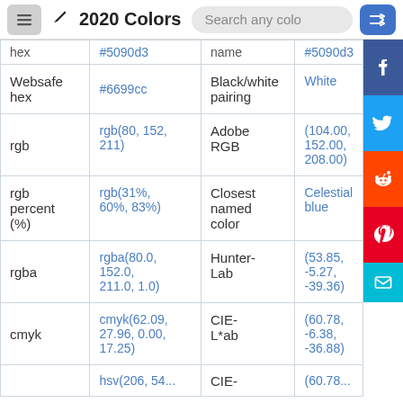2020 Colors
| Property | Value | Property | Value |
| --- | --- | --- | --- |
| hex | #5090d3 | name | #5090d3 |
| Websafe hex | #6699cc | Black/white pairing | White |
| rgb | rgb(80, 152, 211) | Adobe RGB | (104.00, 152.00, 208.00) |
| rgb percent (%) | rgb(31%, 60%, 83%) | Closest named color | Celestial blue |
| rgba | rgba(80.0, 152.0, 211.0, 1.0) | Hunter-Lab | (53.85, -5.27, -39.36) |
| cmyk | cmyk(62.09, 27.96, 0.00, 17.25) | CIE-L*ab | (60.78, -6.38, -36.88) |
| hsv | hsv(206, 54... | CIE- | (60.78... |